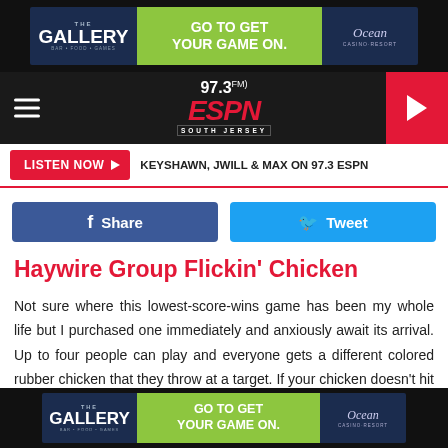[Figure (screenshot): Top advertisement banner for The Gallery at Ocean Casino Resort with 'Go To Get Your Game On.' call to action on dark blue background]
[Figure (logo): 97.3 ESPN South Jersey radio station logo navigation bar with hamburger menu and play button]
LISTEN NOW ▶  KEYSHAWN, JWILL & MAX ON 97.3 ESPN
[Figure (screenshot): Facebook Share and Twitter Tweet social sharing buttons]
Haywire Group Flickin' Chicken
Not sure where this lowest-score-wins game has been my whole life but I purchased one immediately and anxiously await its arrival. Up to four people can play and everyone gets a different colored rubber chicken that they throw at a target. If your chicken doesn't hit the target you have to
[Figure (screenshot): Bottom advertisement banner for The Gallery at Ocean Casino Resort with 'Go To Get Your Game On.' call to action]